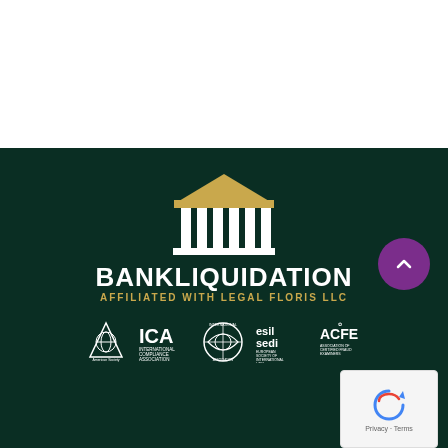[Figure (logo): White top section of the page]
[Figure (logo): Bank Liquidation logo on dark green background — classical temple/pillars icon with gold roof, white columns, text BANKLIQUIDATION in white bold and thin, AFFILIATED WITH LEGAL FLORIS LLC in gold below]
[Figure (logo): Row of affiliation logos: American Society of International Law, ICA International Compliance Association, International Association, esil sedi European Society of International Law, ACFE]
[Figure (other): Purple circle button with upward chevron arrow]
[Figure (other): reCAPTCHA box with Privacy and Terms text]